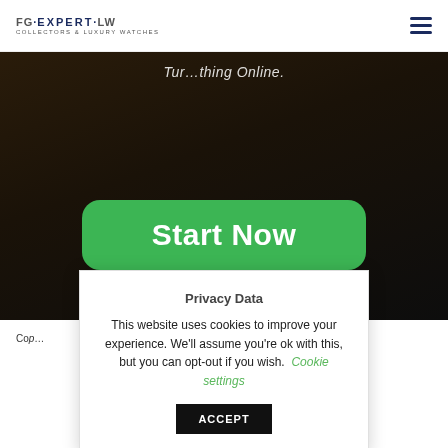FG·EXPERT·LW COLLECTORS & LUXURY WATCHES
Tur…thing Online.
[Figure (screenshot): Dark background hero section of a luxury watches website]
Start Now
Co…
Privacy Data
This website uses cookies to improve your experience. We'll assume you're ok with this, but you can opt-out if you wish. Cookie settings ACCEPT